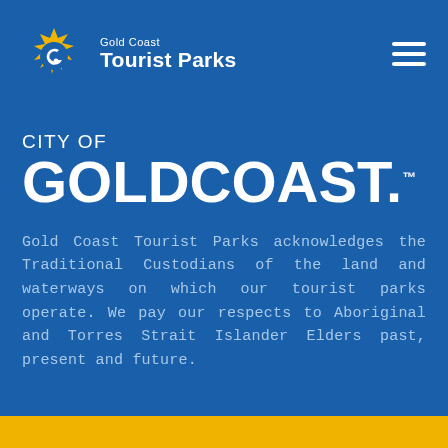Gold Coast Tourist Parks
CITY OF GOLDCOAST.™
Gold Coast Tourist Parks acknowledges the Traditional Custodians of the land and waterways on which our tourist parks operate. We pay our respects to Aboriginal and Torres Strait Islander Elders past, present and future.